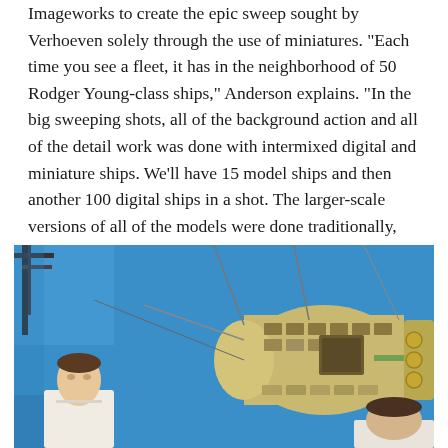Imageworks to create the epic sweep sought by Verhoeven solely through the use of miniatures. "Each time you see a fleet, it has in the neighborhood of 50 Rodger Young-class ships," Anderson explains. "In the big sweeping shots, all of the background action and all of the detail work was done with intermixed digital and miniature ships. We'll have 15 model ships and then another 100 digital ships in a shot. The larger-scale versions of all of the models were done traditionally, except for the Tenders and the tugs.
[Figure (photo): A person in a white shirt looks up at a detailed scale model of a large spacecraft against a blue screen background. Another person is visible at the bottom right.]